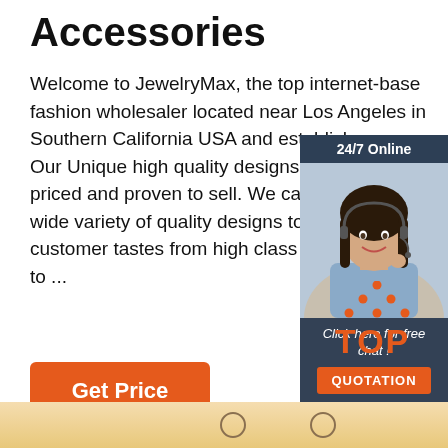Accessories
Welcome to JewelryMax, the top internet-base fashion wholesaler located near Los Angeles in Southern California USA and established. Our Unique high quality designs are competitively priced and proven to sell. We carefully select a wide variety of quality designs to appeal to many customer tastes from high class wholesale to ...
[Figure (illustration): Customer service widget showing a woman with a headset. Top bar reads '24/7 Online'. Below the photo: 'Click here for free chat!' and an orange 'QUOTATION' button.]
[Figure (illustration): Orange 'TOP' text logo with orange dot triangle above it, indicating a back-to-top button.]
Get Price